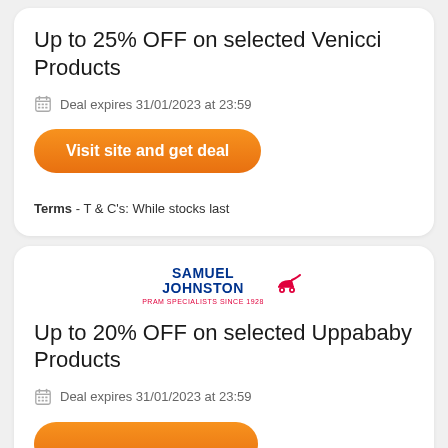Up to 25% OFF on selected Venicci Products
Deal expires 31/01/2023 at 23:59
Visit site and get deal
Terms - T & C's: While stocks last
[Figure (logo): Samuel Johnston pram specialists logo with pram icon]
Up to 20% OFF on selected Uppababy Products
Deal expires 31/01/2023 at 23:59